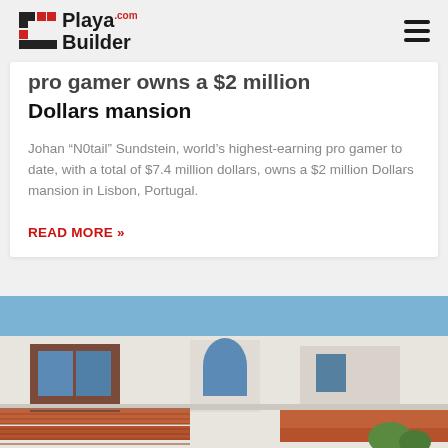PlayaBuilder.com
pro gamer owns a $2 million Dollars mansion
Johan “N0tail” Sundstein, world’s highest-earning pro gamer to date, with a total of $7.4 million dollars, owns a $2 million Dollars mansion in Lisbon, Portugal.
READ MORE »
[Figure (photo): Exterior of a white Mediterranean-style mansion with terracotta roof tiles, brown-shuttered windows, and blue sky in background.]